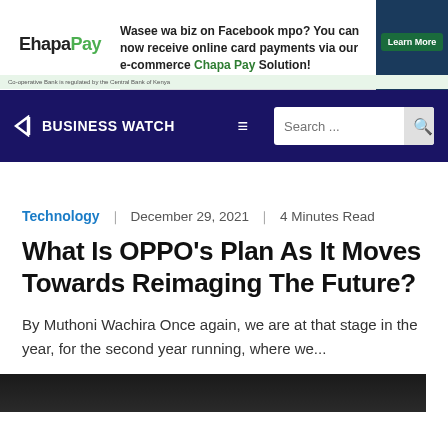[Figure (infographic): ChapaPayadvertisement banner: 'Wasee wa biz on Facebook mpo? You can now receive online card payments via our e-commerce Chapa Pay Solution!' with a Learn More button]
BUSINESS WATCH — navigation bar with search
Technology  |  December 29, 2021  |  4 Minutes Read
What Is OPPO's Plan As It Moves Towards Reimaging The Future?
By Muthoni Wachira Once again, we are at that stage in the year, for the second year running, where we...